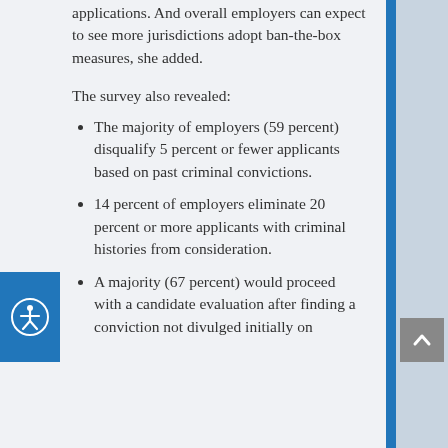applications. And overall employers can expect to see more jurisdictions adopt ban-the-box measures, she added.
The survey also revealed:
The majority of employers (59 percent) disqualify 5 percent or fewer applicants based on past criminal convictions.
14 percent of employers eliminate 20 percent or more applicants with criminal histories from consideration.
A majority (67 percent) would proceed with a candidate evaluation after finding a conviction not divulged initially on